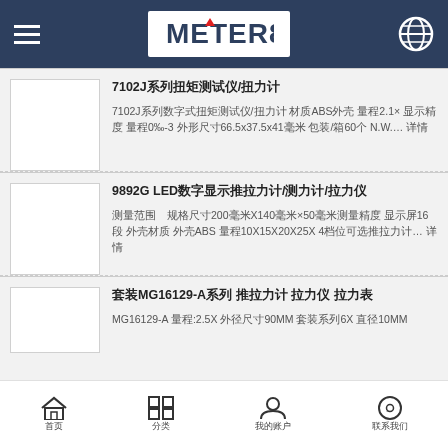METER8 (logo header with menu and globe icon)
7102J系列扭矩测试仪/扭力计
7102J系列数字式扭矩测试仪/扭力计 材质ABS外壳 量程2.1× 显示精度 量程0‰-3 外形尺寸66.5x37.5x41毫米 包装/箱60个 N.W.…  详情
9892G LED数字显示推拉力计/测力计/拉力仪
测量范围  规格尺寸200毫米X140毫米×50毫米测量精度 显示屏16段 外壳材质 外壳ABS 量程10X15X20X25X 4档位可选推拉力计…  详情
套装MG16129-A系列 推拉力计 拉力仪 拉力表
MG16129-A 量程:2.5X 外径尺寸90MM 套装系列6X  直径10MM
首页  分类  我的账户  联系我们